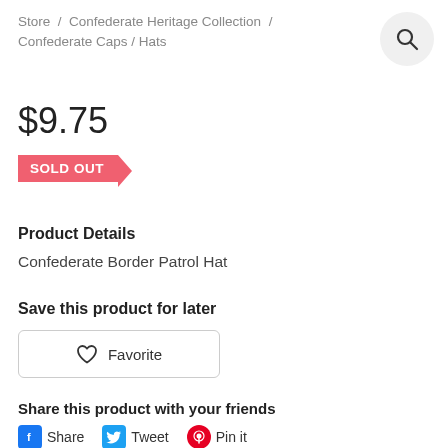Store / Confederate Heritage Collection / Confederate Caps / Hats
$9.75
SOLD OUT
Product Details
Confederate Border Patrol Hat
Save this product for later
Favorite
Share this product with your friends
Share  Tweet  Pin it